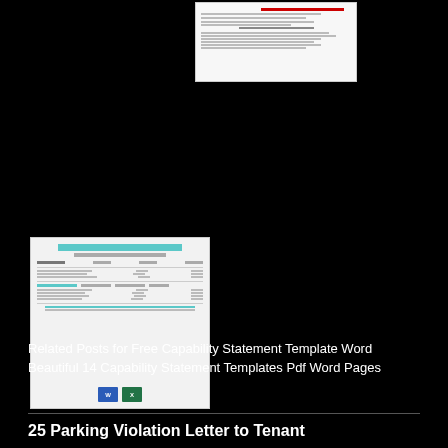[Figure (screenshot): Thumbnail of a capability statement document template, white background with small text lines]
[Figure (screenshot): Thumbnail of a capability statement form template with teal header, rows of data fields, and Word/Excel icons at bottom]
Related Posts for Free Capability Statement Template Word Beautiful 14 Capability Statement Templates Pdf Word Pages
25 Parking Violation Letter to Tenant